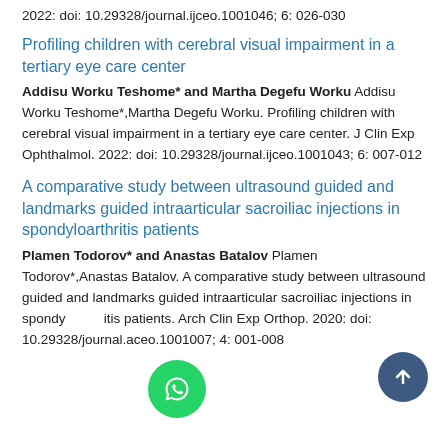2022: doi: 10.29328/journal.ijceo.1001046; 6: 026-030
Profiling children with cerebral visual impairment in a tertiary eye care center
Addisu Worku Teshome* and Martha Degefu Worku Addisu Worku Teshome*,Martha Degefu Worku. Profiling children with cerebral visual impairment in a tertiary eye care center. J Clin Exp Ophthalmol. 2022: doi: 10.29328/journal.ijceo.1001043; 6: 007-012
A comparative study between ultrasound guided and landmarks guided intraarticular sacroiliac injections in spondyloarthritis patients
Plamen Todorov* and Anastas Batalov Plamen Todorov*,Anastas Batalov. A comparative study between ultrasound guided and landmarks guided intraarticular sacroiliac injections in spondyloarthritis patients. Arch Clin Exp Orthop. 2020: doi: 10.29328/journal.aceo.1001007; 4: 001-008